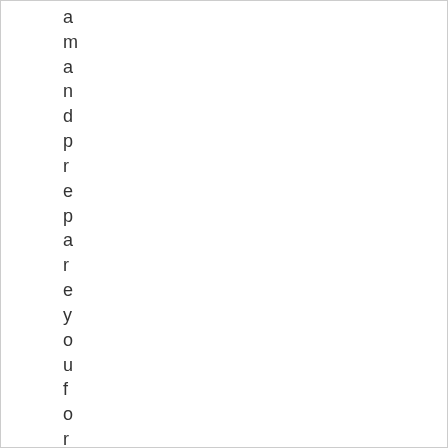a m a n d p r e p a r e y o u f o r s u r p r i s